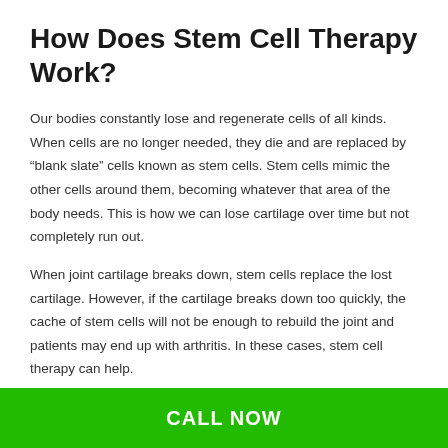How Does Stem Cell Therapy Work?
Our bodies constantly lose and regenerate cells of all kinds. When cells are no longer needed, they die and are replaced by “blank slate” cells known as stem cells. Stem cells mimic the other cells around them, becoming whatever that area of the body needs. This is how we can lose cartilage over time but not completely run out.
When joint cartilage breaks down, stem cells replace the lost cartilage. However, if the cartilage breaks down too quickly, the cache of stem cells will not be enough to rebuild the joint and patients may end up with arthritis. In these cases, stem cell therapy can help.
Stem cells are sourced from elsewhere in the body and injected into the joints that need them. These cells help the healing process
CALL NOW